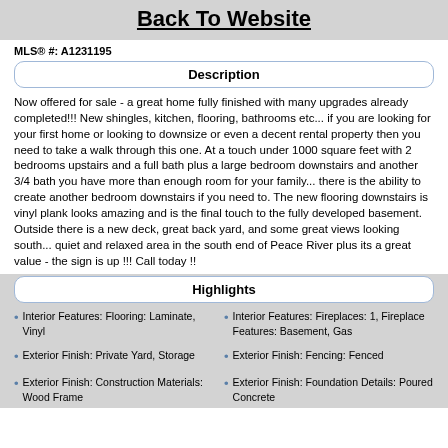Back To Website
MLS® #:  A1231195
Description
Now offered for sale - a great home fully finished with many upgrades already completed!!! New shingles, kitchen, flooring, bathrooms etc... if you are looking for your first home or looking to downsize or even a decent rental property then you need to take a walk through this one. At a touch under 1000 square feet with 2 bedrooms upstairs and a full bath plus a large bedroom downstairs and another 3/4 bath you have more than enough room for your family... there is the ability to create another bedroom downstairs if you need to. The new flooring downstairs is vinyl plank looks amazing and is the final touch to the fully developed basement. Outside there is a new deck, great back yard, and some great views looking south... quiet and relaxed area in the south end of Peace River plus its a great value - the sign is up !!! Call today !!
Highlights
Interior Features: Flooring: Laminate, Vinyl
Interior Features: Fireplaces: 1, Fireplace Features: Basement, Gas
Exterior Finish: Private Yard, Storage
Exterior Finish: Fencing: Fenced
Exterior Finish: Construction Materials: Wood Frame
Exterior Finish: Foundation Details: Poured Concrete